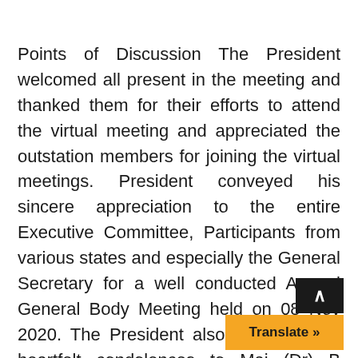Points of Discussion The President welcomed all present in the meeting and thanked them for their efforts to attend the virtual meeting and appreciated the outstation members for joining the virtual meetings. President conveyed his sincere appreciation to the entire Executive Committee, Participants from various states and especially the General Secretary for a well conducted Annual General Body Meeting held on 08 Nov 2020. The President also conveyed his heartfelt condolences to Maj (Dr) B Bhikshpathy who lost his father recently. He requested the General Secretary to commence the proceedings.